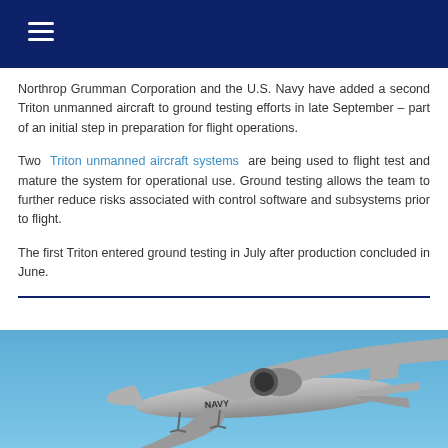≡ (navigation menu)
Northrop Grumman Corporation and the U.S. Navy have added a second Triton unmanned aircraft to ground testing efforts in late September – part of an initial step in preparation for flight operations.
Two Triton unmanned aircraft systems are being used to flight test and mature the system for operational use. Ground testing allows the team to further reduce risks associated with control software and subsystems prior to flight.
The first Triton entered ground testing in July after production concluded in June.
[Figure (photo): Photo of a Northrop Grumman Triton unmanned aerial vehicle (UAV) with U.S. NAVY markings, shown in flight against a blue sky background.]